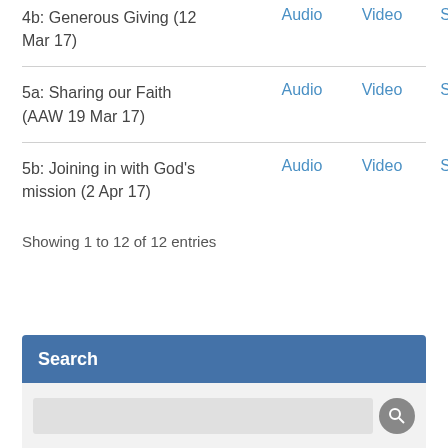| Title | Audio | Video | Slides |
| --- | --- | --- | --- |
| 4b: Generous Giving (12 Mar 17) | Audio | Video | Slides |
| 5a: Sharing our Faith (AAW 19 Mar 17) | Audio | Video | Slides |
| 5b: Joining in with God's mission (2 Apr 17) | Audio | Video | Slides |
Showing 1 to 12 of 12 entries
Search